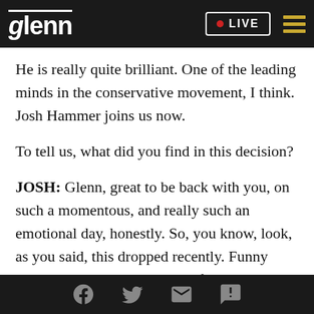glenn • LIVE
He is really quite brilliant. One of the leading minds in the conservative movement, I think. Josh Hammer joins us now.
To tell us, what did you find in this decision?
JOSH: Glenn, great to be back with you, on such a momentous, and really such an emotional day, honestly. So, you know, look, as you said, this dropped recently. Funny enough, I was in the middle of getting a guest lecture from an organization on the advisory board as to when it
Facebook Twitter Email SMS